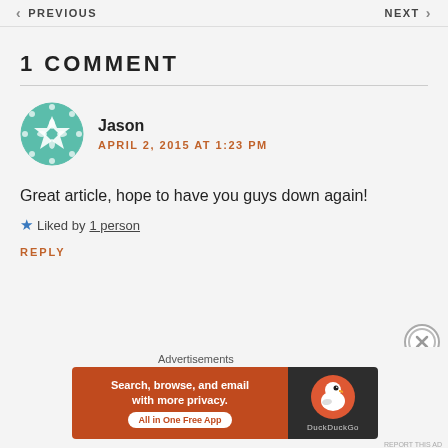PREVIOUS | NEXT
1 COMMENT
Jason
APRIL 2, 2015 AT 1:23 PM
Great article, hope to have you guys down again!
★ Liked by 1 person
REPLY
[Figure (screenshot): DuckDuckGo advertisement banner: orange section with text 'Search, browse, and email with more privacy. All in One Free App' and dark section with DuckDuckGo logo]
REPORT THIS AD